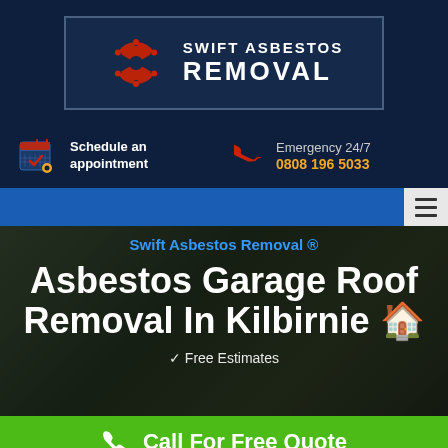[Figure (logo): Swift Asbestos Removal logo with red hazmat/radiation symbol and white bold text on dark navy background]
Schedule an appointment
Emergency 24/7
0808 196 5033
Swift Asbestos Removal ®
Asbestos Garage Roof Removal In Kilbirnie 🏠
✓ Free Estimates
Call For Free Quote